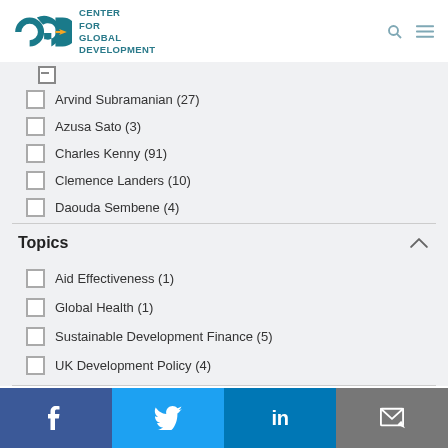CENTER FOR GLOBAL DEVELOPMENT
Arvind Subramanian (27)
Azusa Sato (3)
Charles Kenny (91)
Clemence Landers (10)
Daouda Sembene (4)
Topics
Aid Effectiveness (1)
Global Health (1)
Sustainable Development Finance (5)
UK Development Policy (4)
Facebook Twitter LinkedIn Email